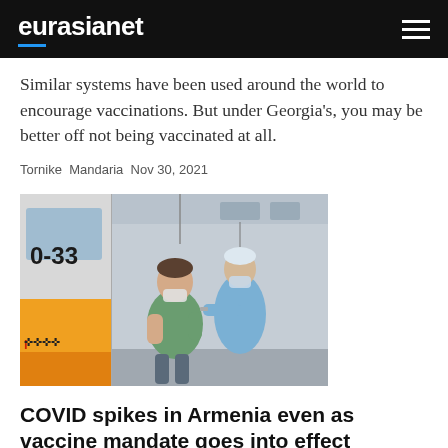eurasianet
Similar systems have been used around the world to encourage vaccinations. But under Georgia’s, you may be better off not being vaccinated at all.
Tornike Mandaria Nov 30, 2021
[Figure (photo): A person seated inside a mobile vaccination van, receiving a vaccine injection from a healthcare worker in blue PPE. The side of the van shows orange markings and Georgian text.]
COVID spikes in Armenia even as vaccine mandate goes into effect
Employers are now effectively required to demand proof